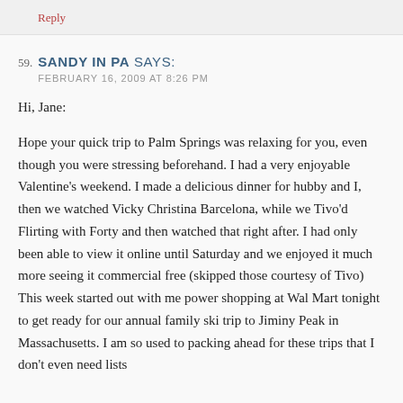Reply
59. SANDY IN PA SAYS:
FEBRUARY 16, 2009 AT 8:26 PM
Hi, Jane:

Hope your quick trip to Palm Springs was relaxing for you, even though you were stressing beforehand. I had a very enjoyable Valentine's weekend. I made a delicious dinner for hubby and I, then we watched Vicky Christina Barcelona, while we Tivo'd Flirting with Forty and then watched that right after. I had only been able to view it online until Saturday and we enjoyed it much more seeing it commercial free (skipped those courtesy of Tivo) This week started out with me power shopping at Wal Mart tonight to get ready for our annual family ski trip to Jiminy Peak in Massachusetts. I am so used to packing ahead for these trips that I don't even need lists